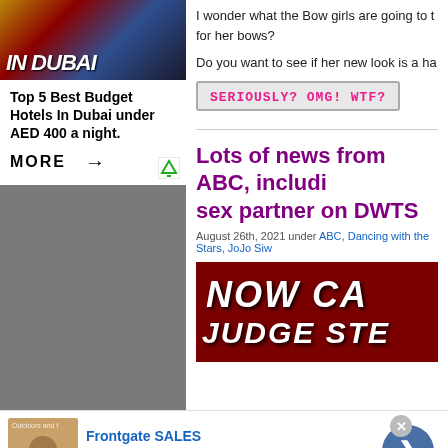[Figure (photo): Advertisement image showing 'IN DUBAI' text overlay on a colorful background]
Top 5 Best Budget Hotels In Dubai under AED 400 a night.
MORE →
I wonder what the Bow girls are going to t for her bows?
Do you want to see if her new look is a ha
[Figure (other): Button graphic reading SERIOUSLY? OMG! WTF?]
Lots of news from ABC, includi sex partner on DWTS
August 26th, 2021 under ABC, Dancing with the Stars, JoJo Siw
[Figure (photo): Dark red banner image with text 'NOW CA' and 'JUDGE STE']
[Figure (photo): Frontgate advertisement showing outdoor furniture with fire pit]
Frontgate SALES
up to 50% off
frontgate.com